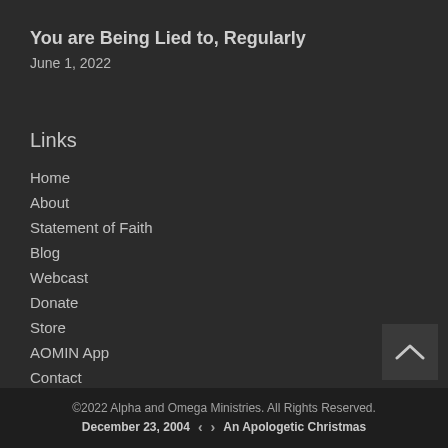You are Being Lied to, Regularly
June 1, 2022
Links
Home
About
Statement of Faith
Blog
Webcast
Donate
Store
AOMIN App
Contact
©2022 Alpha and Omega Ministries. All Rights Reserved. December 23, 2004 ‹ › An Apologetic Christmas